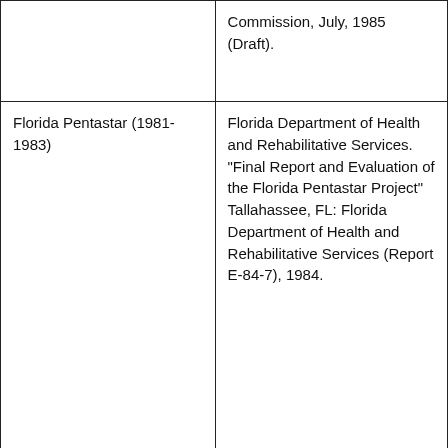|  | Commission, July, 1985 (Draft). |
| Florida Pentastar (1981-1983) | Florida Department of Health and Rehabilitative Services. "Final Report and Evaluation of the Florida Pentastar Project" Tallahassee, FL: Florida Department of Health and Rehabilitative Services (Report E-84-7), 1984. |
|  |  |